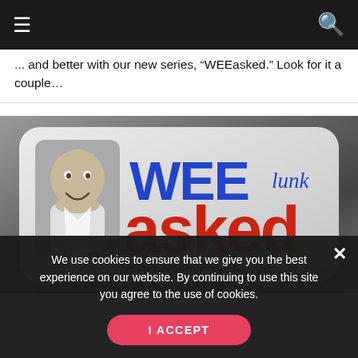Navigation bar with menu and search icons
... and better with our new series, “WEEasked.” Look for it a couple…
[Figure (illustration): WEEasked logo banner featuring a photo of Jay Frey, chairman Wheeling 250. The logo shows 'WEE' in large blue bold text with 'lunk' in blue italic script, and 'asked' in large red bold text below. The banner has a rounded white card on a gray gradient background.]
We use cookies to ensure that we give you the best experience on our website. By continuing to use this site you agree to the use of cookies.